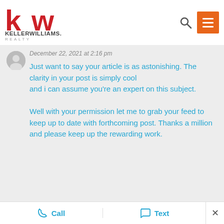[Figure (logo): Keller Williams Realty logo — red KW letters with bold KELLERWILLIAMS. REALTY text below]
December 22, 2021 at 2:16 pm
Just want to say your article is as astonishing. The clarity in your post is simply cool and i can assume you’re an expert on this subject.

Well with your permission let me to grab your feed to keep up to date with forthcoming post. Thanks a million and please keep up the rewarding work.
Call   Text   ×